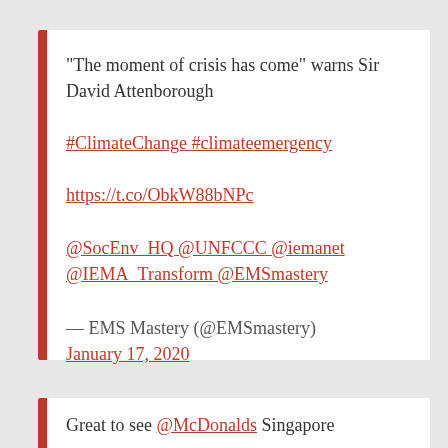"The moment of crisis has come" warns Sir David Attenborough #ClimateChange #climateemergency https://t.co/ObkW88bNPc @SocEnv_HQ @UNFCCC @iemanet @IEMA_Transform @EMSmastery

— EMS Mastery (@EMSmastery)
January 17, 2020
Great to see @McDonalds Singapore